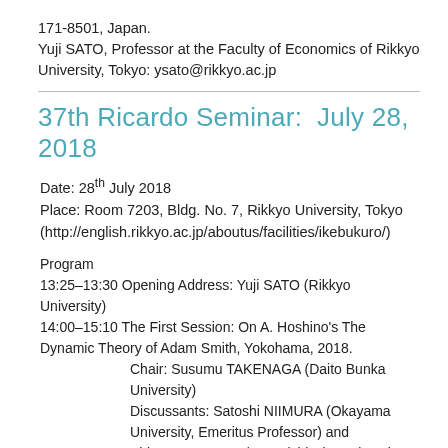171-8501, Japan.
Yuji SATO, Professor at the Faculty of Economics of Rikkyo University, Tokyo: ysato@rikkyo.ac.jp
37th Ricardo Seminar:  July 28, 2018
Date: 28th July 2018
Place: Room 7203, Bldg. No. 7, Rikkyo University, Tokyo (http://english.rikkyo.ac.jp/aboutus/facilities/ikebukuro/)
Program
13:25–13:30 Opening Address: Yuji SATO (Rikkyo University)
14:00–15:10 The First Session: On A. Hoshino's The Dynamic Theory of Adam Smith, Yokohama, 2018.
    Chair: Susumu TAKENAGA (Daito Bunka University)
    Discussants: Satoshi NIIMURA (Okayama University, Emeritus Professor) and Shigemasa SATO (Onomichi City University,